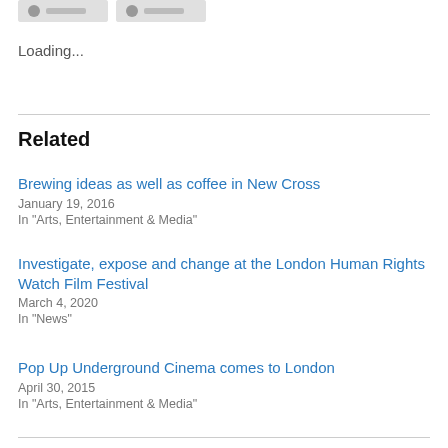Loading...
Related
Brewing ideas as well as coffee in New Cross
January 19, 2016
In "Arts, Entertainment & Media"
Investigate, expose and change at the London Human Rights Watch Film Festival
March 4, 2020
In "News"
Pop Up Underground Cinema comes to London
April 30, 2015
In "Arts, Entertainment & Media"